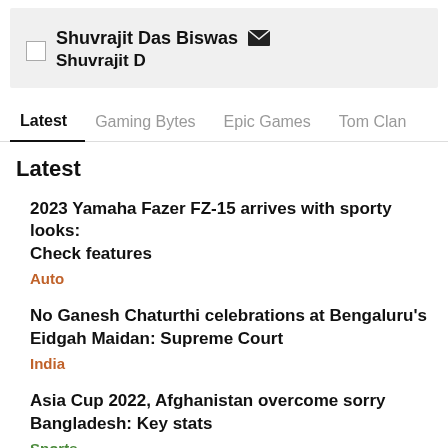Shuvrajit Das Biswas
Shuvrajit D
Latest   Gaming Bytes   Epic Games   Tom Clan
Latest
2023 Yamaha Fazer FZ-15 arrives with sporty looks: Check features
Auto
No Ganesh Chaturthi celebrations at Bengaluru's Eidgah Maidan: Supreme Court
India
Asia Cup 2022, Afghanistan overcome sorry Bangladesh: Key stats
Sports